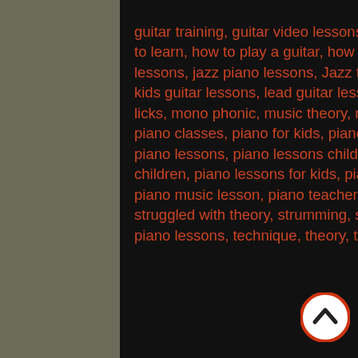guitar training, guitar video lessons, guitars lessons, Harmony, How to do music, how to learn, how to play a guitar, how to solo, Improv, improvising, Jazz, jazz guitar lessons, jazz piano lessons, Jazz theory, keyboard lessons, keyboard music lessons, kids guitar lessons, lead guitar lessons, learn & master guitar, learn acoustic guitar, licks, mono phonic, music theory, no music writing, passion for music, pentatonic, piano classes, piano for kids, piano instructors, piano keyboard lessons, piano lesson, piano lessons, piano lessons children, piano lessons for beginners, piano lessons for children, piano lessons for kids, piano lessons teacher, piano lessons theory lessons, piano music lesson, piano teacher, piano teachers, polyphonic, soloing, soloing over, struggled with theory, strumming, studio recording, Tab, tablature changes, teaching piano lessons, technique, theory, transcription, understand theory counterpoint
[Figure (other): A circular back-to-top button with a white background, red border, and an upward-pointing chevron arrow in dark color]